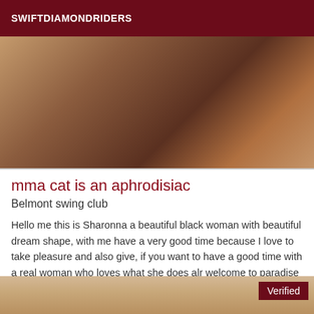SWIFTDIAMONDRIDERS
[Figure (photo): Close-up photo of what appears to be an animal or food item in brown tones]
mma cat is an aphrodisiac
Belmont swing club
Hello me this is Sharonna a beautiful black woman with beautiful dream shape, with me have a very good time because I love to take pleasure and also give, if you want to have a good time with a real woman who loves what she does alr welcome to paradise PS my photos are 100% REAL AND I DO NOT RESPOND TO SMS or mask number
[Figure (photo): Partial photo of a person with blonde hair, with a 'Verified' badge in the top right corner]